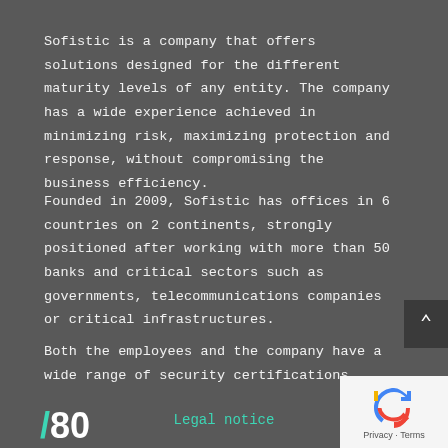Sofistic is a company that offers solutions designed for the different maturity levels of any entity. The company has a wide experience achieved in minimizing risk, maximizing protection and response, without compromising the business efficiency.
Founded in 2009, Sofistic has offices in 6 countries on 2 continents, strongly positioned after working with more than 50 banks and critical sectors such as governments, telecommunications companies or critical infrastructures.
Both the employees and the company have a wide range of security certifications, such as ENS or ISO27001.
/480   Legal notice